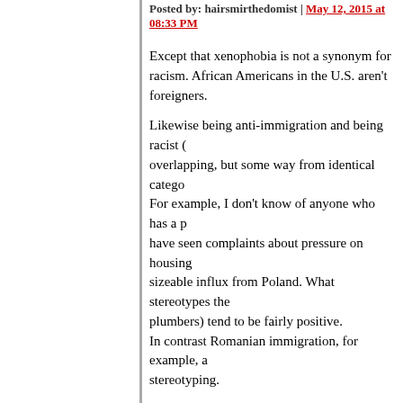Posted by: hairsmirthedomist | May 12, 2015 at 08:33 PM
Except that xenophobia is not a synonym for racism. African Americans in the U.S. aren't foreigners.
Likewise being anti-immigration and being racist (overlapping, but some way from identical categories). For example, I don't know of anyone who has a p... have seen complaints about pressure on housing... sizeable influx from Poland. What stereotypes the... plumbers) tend to be fairly positive.
In contrast Romanian immigration, for example, a... stereotyping.
Posted by: Nigel | May 12, 2015 at 08:39 PM
if xenophobia and racism aren't synonyms, they a... traditional rejoinder for Latinos or AA complaining... you go back to Mexico/Africa'.
It is quite difficult to be 'anti-immigration', in the br... folks have to drop back to race theories in order t...
Racism often has an image of whites against othe...